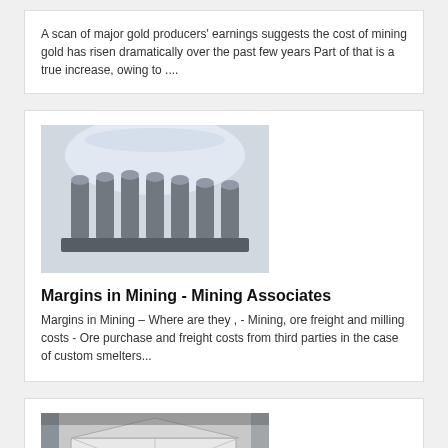A scan of major gold producers' earnings suggests the cost of mining gold has risen dramatically over the past few years Part of that is a true increase, owing to ....
[Figure (photo): Close-up photo of industrial mining drill bits or cutting teeth, metallic, arranged in a row]
Margins in Mining - Mining Associates
Margins in Mining – Where are they , - Mining, ore freight and milling costs - Ore purchase and freight costs from third parties in the case of custom smelters...
[Figure (photo): Industrial mining machinery or ore processing equipment in a warehouse/factory setting, large white machine]